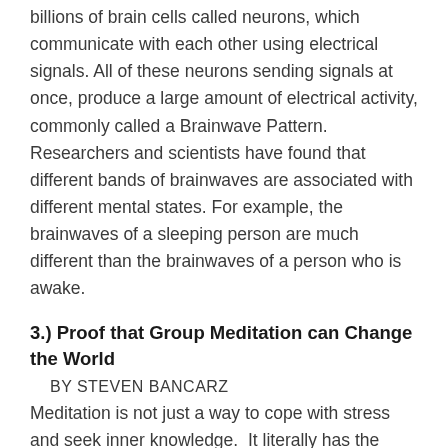billions of brain cells called neurons, which communicate with each other using electrical signals. All of these neurons sending signals at once, produce a large amount of electrical activity, commonly called a Brainwave Pattern. Researchers and scientists have found that different bands of brainwaves are associated with different mental states. For example, the brainwaves of a sleeping person are much different than the brainwaves of a person who is awake.
3.) Proof that Group Meditation can Change the World
BY STEVEN BANCARZ
Meditation is not just a way to cope with stress and seek inner knowledge.  It literally has the potential to literally transform the world. In 1978, what is known as the “Maharishi Effect” took place when a group of 7000 individuals over the course of 3 weeks were meditating in hopes of positively effecting the surrounding city.